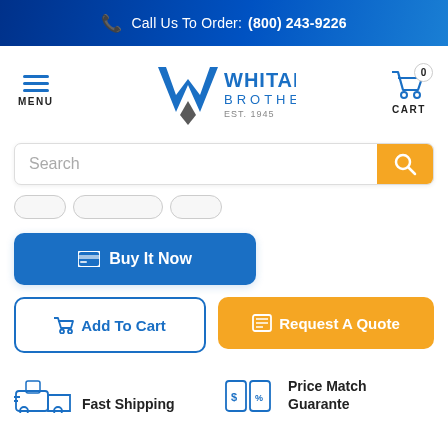Call Us To Order: (800) 243-9226
[Figure (logo): Whitaker Brothers logo with W monogram and text WHITAKER BROTHERS EST. 1945, menu icon and cart icon with 0 badge]
Search
Buy It Now
Add To Cart
Request A Quote
Fast Shipping
Price Match Guarantee